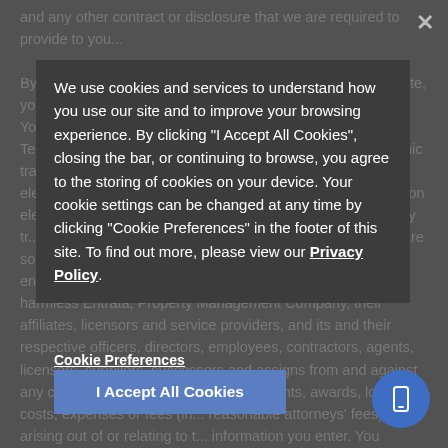and any other contract or disclosure that we are required to provide to you...
We use cookies and services to understand how you use our site and to improve your browsing experience. By clicking "I Accept All Cookies", closing the bar, or continuing to browse, you agree to the storing of cookies on your device. Your cookie settings can be changed at any time by clicking "Cookie Preferences" in the footer of this site. To find out more, please view our Privacy Policy.
By clicking 'Submit' on any step of a transaction within this Site, you agree to conduct such transaction by electronic means. You understand that by clicking the box titled 'I agree to the Terms & Conditions', you are agreeing to conduct an electronic transaction and to use and receive communications through electronic means. You agree to enter the requested information electronically via the Internet, and to be notified regarding any tr... electronically through the email address you have provided. You are solely responsible for ensuring the co... of the information you enter, and you hereby agree to defend, indemnify and hold harmless Entrata, Property Management Company, their affiliates, licensors and service providers, and its and their respective officers, directors, employees, contractors, agents, licensors, suppliers, successors and assigns from and against any claims, liabilities, damages, judgements, awards, losses, costs, expenses or fees (in... reasonable attorneys' fees) arising out of or relating to t... information you enter. You understand that electronically signed documents have the same legal effect as hard copies with ink